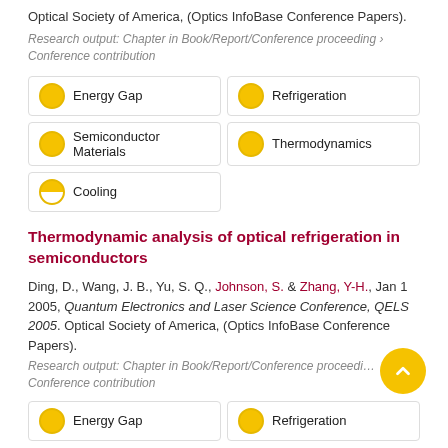Optical Society of America, (Optics InfoBase Conference Papers).
Research output: Chapter in Book/Report/Conference proceeding › Conference contribution
Energy Gap
Refrigeration
Semiconductor Materials
Thermodynamics
Cooling
Thermodynamic analysis of optical refrigeration in semiconductors
Ding, D., Wang, J. B., Yu, S. Q., Johnson, S. & Zhang, Y-H., Jan 1 2005, Quantum Electronics and Laser Science Conference, QELS 2005. Optical Society of America, (Optics InfoBase Conference Papers).
Research output: Chapter in Book/Report/Conference proceeding › Conference contribution
Energy Gap
Refrigeration